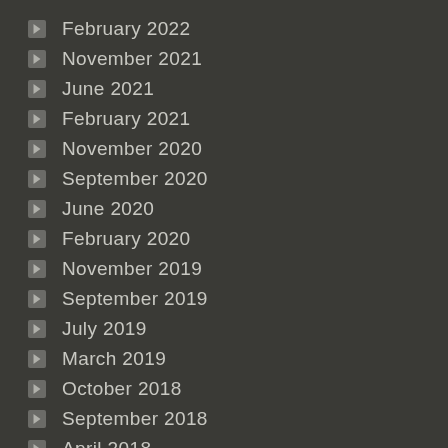February 2022
November 2021
June 2021
February 2021
November 2020
September 2020
June 2020
February 2020
November 2019
September 2019
July 2019
March 2019
October 2018
September 2018
April 2018
January 2018
September 2017